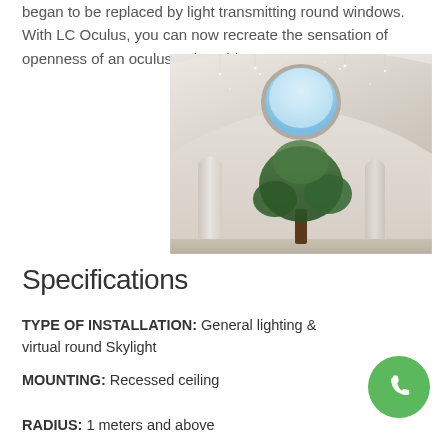began to be replaced by light transmitting round windows. With LC Oculus, you can now recreate the sensation of openness of an oculus, adaptable to any space.
[Figure (photo): Interior architectural photo showing a domed white ceiling with a circular skylight/oculus opening revealing blue sky, with a tree below and white columns visible]
Specifications
TYPE OF INSTALLATION: General lighting & virtual round Skylight
MOUNTING: Recessed ceiling
RADIUS: 1 meters and above